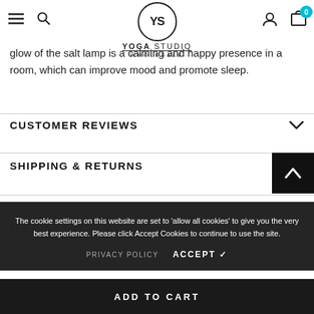YOGA STUDIO WHOLESALE
glow of the salt lamp is a calming and happy presence in a room, which can improve mood and promote sleep.
CUSTOMER REVIEWS
SHIPPING & RETURNS
The cookie settings on this website are set to 'allow all cookies' to give you the very best experience. Please click Accept Cookies to continue to use the site.
PRIVACY POLICY   ACCEPT ✓
ADD TO CART